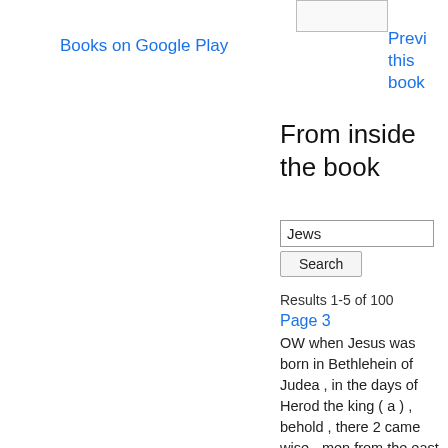Books on Google Play
Preview this book
From inside the book
Jews
Search
Results 1-5 of 100
Page 3
OW when Jesus was born in Bethlehein of Judea , in the days of Herod the king ( a ) , behold , there 2 came wise - men from the east to Jerusalem , Saying , Where is he that is born king of the Jews ? for we